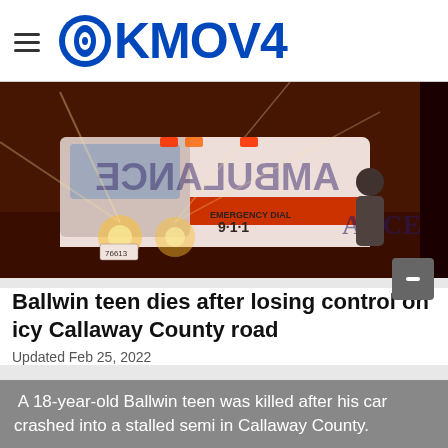KMOV4
[Figure (photo): An ambulance with red and orange light flares, showing 'EMERGENCY DIAL 9-1-1' text on the side, at night]
Ballwin teen dies after losing control on icy Callaway County road
Updated Feb 25, 2022
A 18-year-old Ballwin teen was killed after his car crashed into a stalled semi in Callaway County.